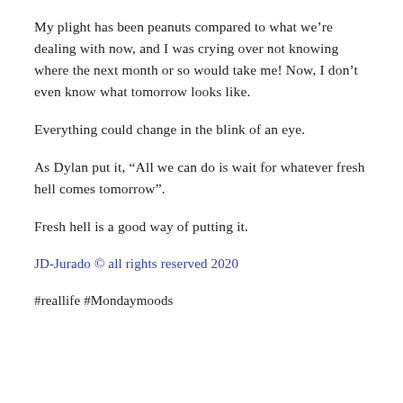My plight has been peanuts compared to what we’re dealing with now, and I was crying over not knowing where the next month or so would take me! Now, I don’t even know what tomorrow looks like.
Everything could change in the blink of an eye.
As Dylan put it, “All we can do is wait for whatever fresh hell comes tomorrow”.
Fresh hell is a good way of putting it.
JD-Jurado © all rights reserved 2020
#reallife #Mondaymoods